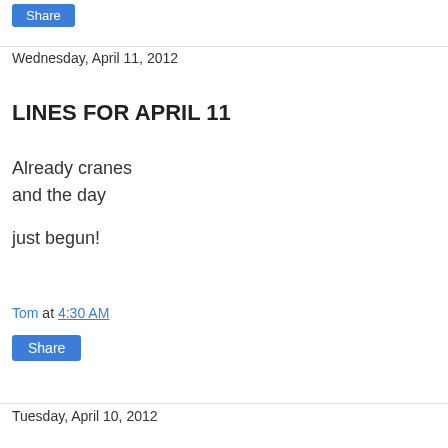Share
Wednesday, April 11, 2012
LINES FOR APRIL 11
Already cranes
and the day

just begun!
Tom at 4:30 AM
Share
Tuesday, April 10, 2012